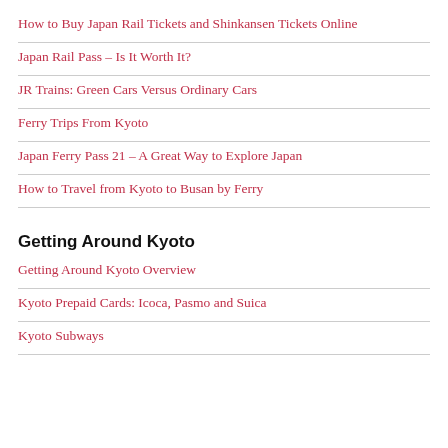How to Buy Japan Rail Tickets and Shinkansen Tickets Online
Japan Rail Pass – Is It Worth It?
JR Trains: Green Cars Versus Ordinary Cars
Ferry Trips From Kyoto
Japan Ferry Pass 21 – A Great Way to Explore Japan
How to Travel from Kyoto to Busan by Ferry
Getting Around Kyoto
Getting Around Kyoto Overview
Kyoto Prepaid Cards: Icoca, Pasmo and Suica
Kyoto Subways